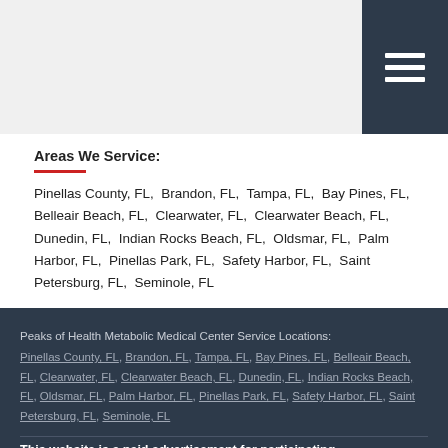Areas We Service:
Pinellas County, FL,  Brandon, FL,  Tampa, FL,  Bay Pines, FL,  Belleair Beach, FL,  Clearwater, FL,  Clearwater Beach, FL,  Dunedin, FL,  Indian Rocks Beach, FL,  Oldsmar, FL,  Palm Harbor, FL,  Pinellas Park, FL,  Safety Harbor, FL,  Saint Petersburg, FL,  Seminole, FL
Peaks of Health Metabolic Medical Center Service Locations: Pinellas County, FL, Brandon, FL, Tampa, FL, Bay Pines, FL, Belleair Beach, FL, Clearwater, FL, Clearwater Beach, FL, Dunedin, FL, Indian Rocks Beach, FL, Oldsmar, FL, Palm Harbor, FL, Pinellas Park, FL, Safety Harbor, FL, Saint Petersburg, FL, Seminole, FL
This website is a paid advertisement for participating